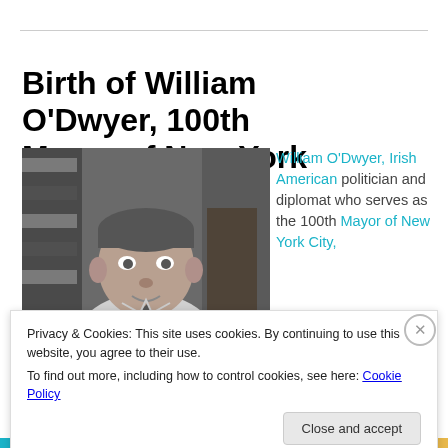Birth of William O'Dwyer, 100th Mayor of New York City
[Figure (photo): Black and white photograph of William O'Dwyer, showing him from approximately the chest up, in a white shirt with a tie, with an American flag visible in the background.]
William O'Dwyer, Irish American politician and diplomat who serves as the 100th Mayor of New York City,
Privacy & Cookies: This site uses cookies. By continuing to use this website, you agree to their use.
To find out more, including how to control cookies, see here: Cookie Policy